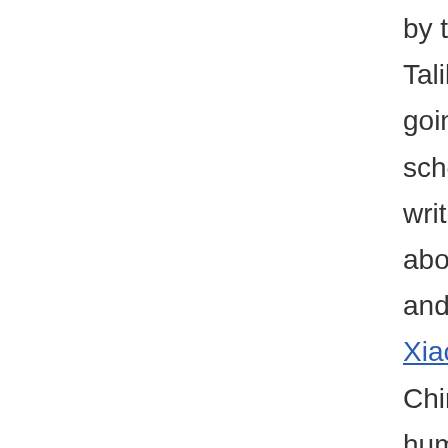by the Taliban for going to school and writing about it, and Liu Xiaobo, a Chinese human rights activist, who won in 2010 but was not allowed to go to Oslo to collect the prize (surprise). He also became just the